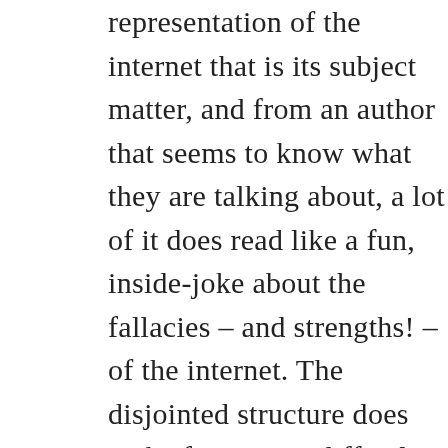representation of the internet that is its subject matter, and from an author that seems to know what they are talking about, a lot of it does read like a fun, inside-joke about the fallacies – and strengths! – of the internet. The disjointed structure does make for a more difficult read though, as it's frequently hard to keep track of what's going on.

The second half of this book delves into 'real life,' as a direct contrast to how easily we got lost in the digital